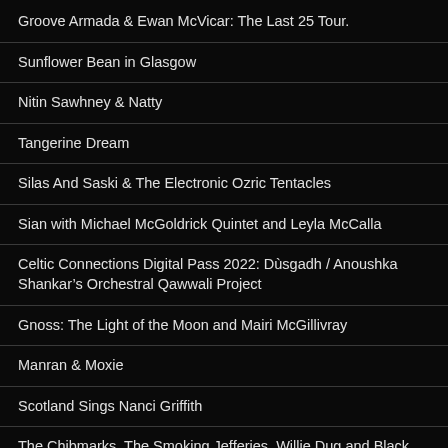Groove Armada & Ewan McVicar: The Last 25 Tour.
Sunflower Bean in Glasgow
Nitin Sawhney & Natty
Tangerine Dream
Silas And Saski & The Electronic Ozric Tentacles
Sian with Michael McGoldrick Quintet and Leyla McCalla
Celtic Connections Digital Pass 2022: Dùsgadh / Anoushka Shankar's Orchestral Qawwali Project
Gnoss: The Light of the Moon and Mairi McGillivray
Manran & Moxie
Scotland Sings Nanci Griffith
The Chibmarks, The Smoking Jefferies, Willie Dug and Black Wolf Trap.
The Masquerade Ball